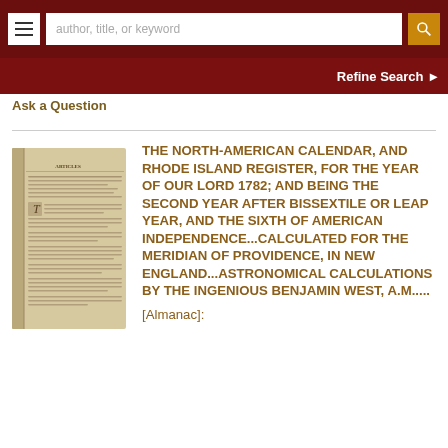author, title, or keyword | Refine Search
Ask a Question
THE NORTH-AMERICAN CALENDAR, AND RHODE ISLAND REGISTER, FOR THE YEAR OF OUR LORD 1782; AND BEING THE SECOND YEAR AFTER BISSEXTILE OR LEAP YEAR, AND THE SIXTH OF AMERICAN INDEPENDENCE...CALCULATED FOR THE MERIDIAN OF PROVIDENCE, IN NEW ENGLAND...ASTRONOMICAL CALCULATIONS BY THE INGENIOUS BENJAMIN WEST, A.M.....
[Almanac]: